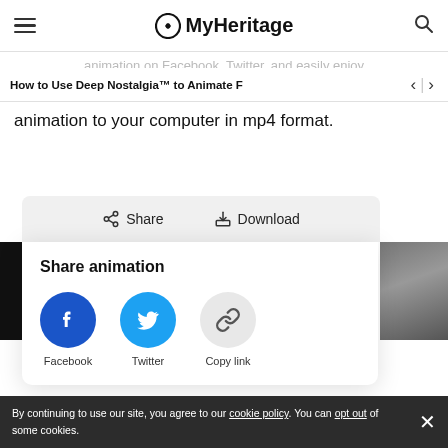MyHeritage
How to Use Deep Nostalgia™ to Animate F
animation on Facebook, Twitter, and easily enjoy
animation to your computer in mp4 format.
[Figure (screenshot): Share animation popup with Share and Download buttons, and social sharing icons for Facebook, Twitter, and Copy link]
By continuing to use our site, you agree to our cookie policy. You can opt out of some cookies.